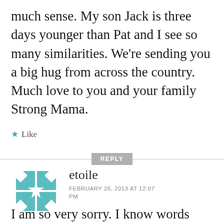much sense. My son Jack is three days younger than Pat and I see so many similarities. We're sending you a big hug from across the country. Much love to you and your family Strong Mama.
★ Like
REPLY
etoile
FEBRUARY 26, 2013 AT 12:07 PM
I am so very sorry. I know words will